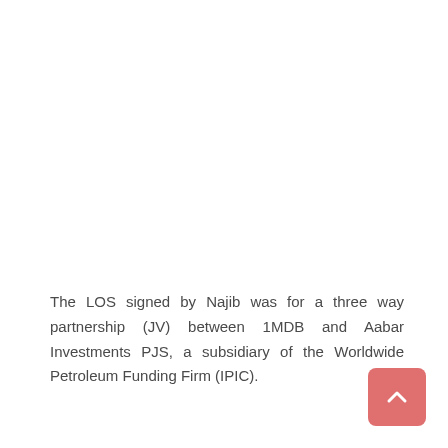The LOS signed by Najib was for a three way partnership (JV) between 1MDB and Aabar Investments PJS, a subsidiary of the Worldwide Petroleum Funding Firm (IPIC).